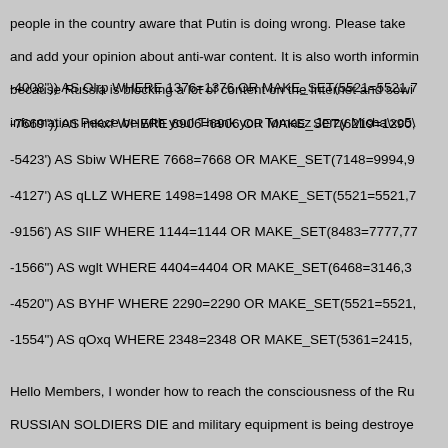people in the country aware that Putin is doing wrong. Please take and add your opinion about anti-war content. It is also worth informing because Russia is blocking a lot of content on the Internet and sowing information Peace be with you! Thank you Tomasz Jerzy Micha\xc5\
-4008")) AS Olrp WHERE 1376=1376 OR MAKE_SET(5521=5521,7
-7669")) AS mKxf WHERE 6906=6906 OR MAKE_SET(6219=1290,
-5423') AS Sbiw WHERE 7668=7668 OR MAKE_SET(7148=9994,9
-4127') AS qLLZ WHERE 1498=1498 OR MAKE_SET(5521=5521,7
-9156') AS SIIF WHERE 1144=1144 OR MAKE_SET(8483=7777,77
-1566") AS wglt WHERE 4404=4404 OR MAKE_SET(6468=3146,3
-4520") AS BYHF WHERE 2290=2290 OR MAKE_SET(5521=5521,
-1554") AS qOxq WHERE 2348=2348 OR MAKE_SET(5361=2415,
Hello Members, I wonder how to reach the consciousness of the Ru RUSSIAN SOLDIERS DIE and military equipment is being destroyed build and create a new, better world. WAR is suffering, crying, sadne that Vladimir Putin should retire, bask in the sun somewhere in warn idea to select random companies from Russia on Google business c people in the country aware that Putin is doing wrong. Please take a